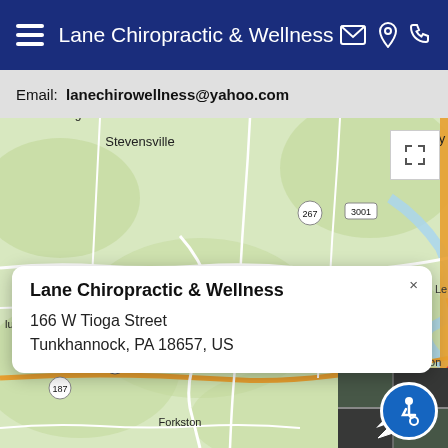Lane Chiropractic & Wellness
Email:  lanechirowellness@yahoo.com
[Figure (map): Google Maps view showing location of Lane Chiropractic & Wellness at 166 W Tioga Street, Tunkhannock, PA 18657, US. Map shows surrounding towns including Stevensville, Springville, Hop Bottom, Mehoopany, Factoryville, Forkston, Evans Falls. Red location pin marks Tunkhannock. Route numbers 6, 29, 92, 187, 267, 307, 3001 visible.]
Lane Chiropractic & Wellness
166 W Tioga Street
Tunkhannock, PA 18657, US